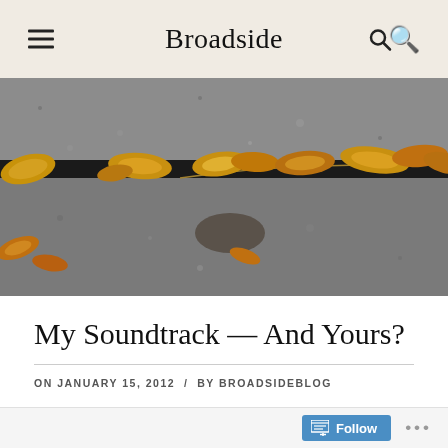Broadside
[Figure (photo): Autumn yellow leaves scattered on grey concrete steps, with a long leaf stem running horizontally across the crack between two steps.]
My Soundtrack — And Yours?
ON JANUARY 15, 2012 / BY BROADSIDEBLOG